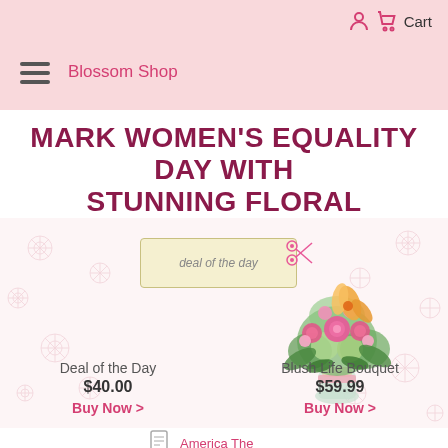Blossom Shop | Cart
MARK WOMEN'S EQUALITY DAY WITH STUNNING FLORAL
[Figure (illustration): Deal of the Day coupon stub with scissors]
[Figure (photo): Blush Life Bouquet flower arrangement in glass vase with pink roses, orange lilies, and green hydrangeas]
Deal of the Day
$40.00
Buy Now >
Blush Life Bouquet
$59.99
Buy Now >
America The